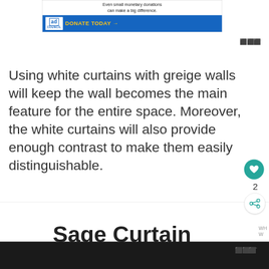[Figure (other): Ad Council banner ad with text 'Even small monetary donations can make a big difference.' and a blue button 'DONATE TODAY →']
Using white curtains with greige walls will keep the wall becomes the main feature for the entire space. Moreover, the white curtains will also provide enough contrast to make them easily distinguishable.
Sage Curtain